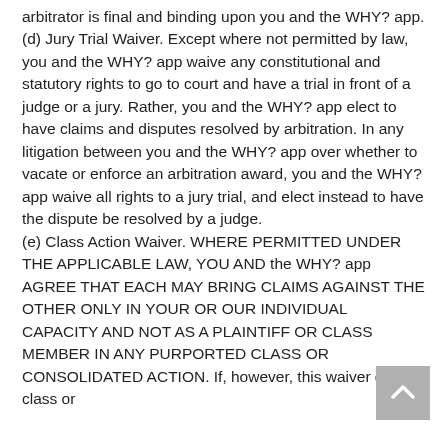arbitrator is final and binding upon you and the WHY? app. (d) Jury Trial Waiver. Except where not permitted by law, you and the WHY? app waive any constitutional and statutory rights to go to court and have a trial in front of a judge or a jury. Rather, you and the WHY? app elect to have claims and disputes resolved by arbitration. In any litigation between you and the WHY? app over whether to vacate or enforce an arbitration award, you and the WHY? app waive all rights to a jury trial, and elect instead to have the dispute be resolved by a judge. (e) Class Action Waiver. WHERE PERMITTED UNDER THE APPLICABLE LAW, YOU AND the WHY? app AGREE THAT EACH MAY BRING CLAIMS AGAINST THE OTHER ONLY IN YOUR OR OUR INDIVIDUAL CAPACITY AND NOT AS A PLAINTIFF OR CLASS MEMBER IN ANY PURPORTED CLASS OR CONSOLIDATED ACTION. If, however, this waiver of class or